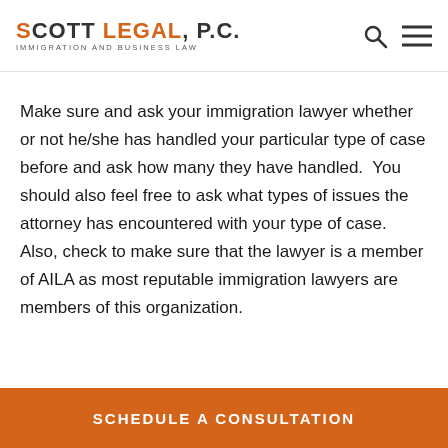SCOTT LEGAL, P.C. IMMIGRATION AND BUSINESS LAW
Make sure and ask your immigration lawyer whether or not he/she has handled your particular type of case before and ask how many they have handled.  You should also feel free to ask what types of issues the attorney has encountered with your type of case.  Also, check to make sure that the lawyer is a member of AILA as most reputable immigration lawyers are members of this organization.
SCHEDULE A CONSULTATION